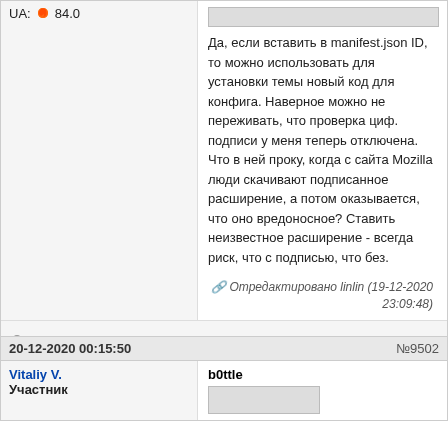UA: 84.0
Да, если вставить в manifest.json ID, то можно использовать для установки темы новый код для конфига. Наверное можно не переживать, что проверка циф. подписи у меня теперь отключена. Что в ней проку, когда с сайта Mozilla люди скачивают подписанное расширение, а потом оказывается, что оно вредоносное? Ставить неизвестное расширение - всегда риск, что с подписью, что без.
Отредактировано linlin (19-12-2020 23:09:48)
Отсутствует
20-12-2020 00:15:50
№9502
Vitaliy V.
Участник
b0ttle